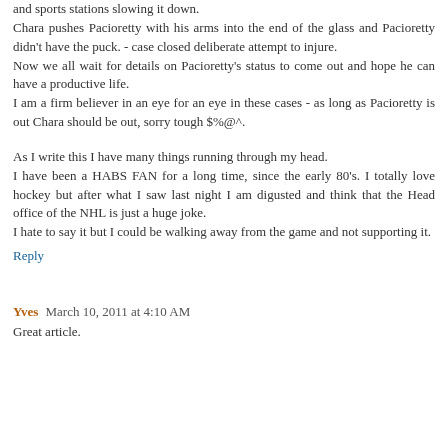and sports stations slowing it down. Chara pushes Pacioretty with his arms into the end of the glass and Pacioretty didn't have the puck. - case closed deliberate attempt to injure. Now we all wait for details on Pacioretty's status to come out and hope he can have a productive life. I am a firm believer in an eye for an eye in these cases - as long as Pacioretty is out Chara should be out, sorry tough $%@^.
As I write this I have many things running through my head. I have been a HABS FAN for a long time, since the early 80's. I totally love hockey but after what I saw last night I am digusted and think that the Head office of the NHL is just a huge joke. I hate to say it but I could be walking away from the game and not supporting it.
Reply
Yves  March 10, 2011 at 4:10 AM
Great article.